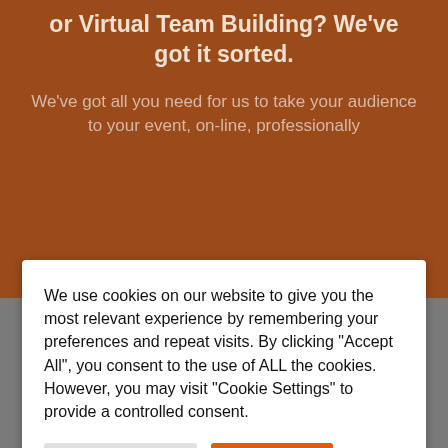or Virtual Team Building? We've got it sorted.
We've got all you need for us to take your audience to your event, on-line, professionally
We use cookies on our website to give you the most relevant experience by remembering your preferences and repeat visits. By clicking "Accept All", you consent to the use of ALL the cookies. However, you may visit "Cookie Settings" to provide a controlled consent.
LATEST NEWS
Introducing our new Corporate Events